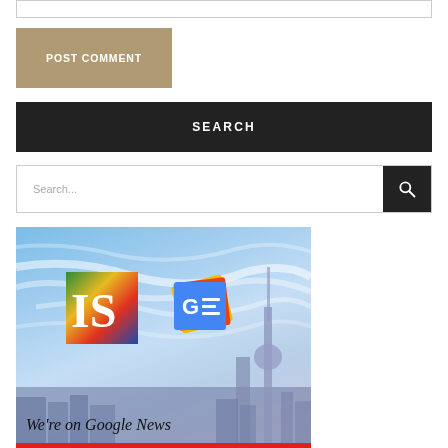POST COMMENT
SEARCH
Search...
[Figure (illustration): Google News promotion banner showing Shanghai skyline with Oriental Pearl Tower, IS logo and Google News logo overlaid, with text 'We're on Google News' at bottom]